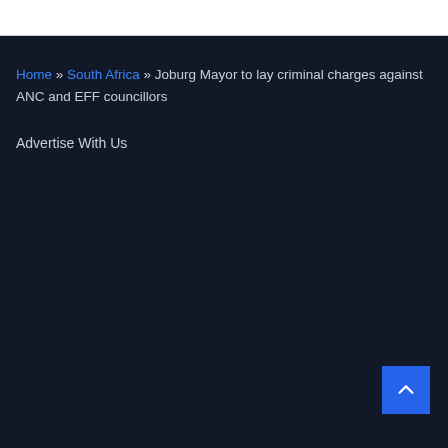Home » South Africa » Joburg Mayor to lay criminal charges against ANC and EFF councillors
Advertise With Us